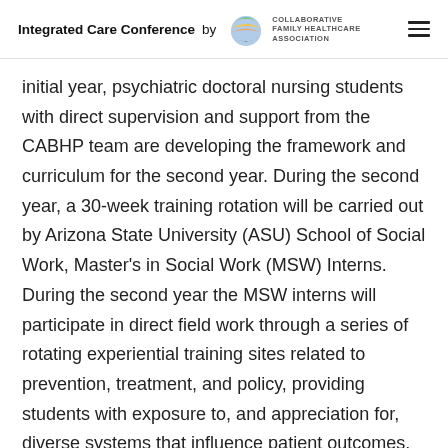Integrated Care Conference by CFHA Collaborative Family Healthcare Association
initial year, psychiatric doctoral nursing students with direct supervision and support from the CABHP team are developing the framework and curriculum for the second year. During the second year, a 30-week training rotation will be carried out by Arizona State University (ASU) School of Social Work, Master's in Social Work (MSW) Interns. During the second year the MSW interns will participate in direct field work through a series of rotating experiential training sites related to prevention, treatment, and policy, providing students with exposure to, and appreciation for, diverse systems that influence patient outcomes. Additionally, they will receive specialized training